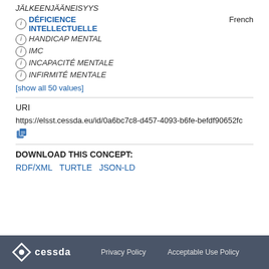JÄLKEENJÄÄNEISYYS
ⓘ DÉFICIENCE INTELLECTUELLE  French
ⓘ HANDICAP MENTAL
ⓘ IMC
ⓘ INCAPACITÉ MENTALE
ⓘ INFIRMITÉ MENTALE
[show all 50 values]
URI
https://elsst.cessda.eu/id/0a6bc7c8-d457-4093-b6fe-befdf90652fc
DOWNLOAD THIS CONCEPT:
RDF/XML  TURTLE  JSON-LD
cessda   Privacy Policy   Acceptable Use Policy